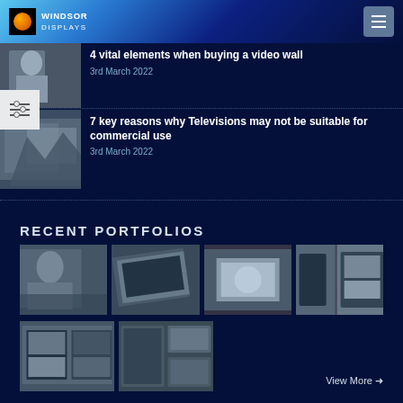Windsor Displays
[Figure (screenshot): Partially visible article thumbnail showing a person]
4 vital elements when buying a video wall
3rd March 2022
[Figure (screenshot): Article thumbnail showing a gallery/exhibition space]
7 key reasons why Televisions may not be suitable for commercial use
3rd March 2022
RECENT PORTFOLIOS
[Figure (photo): Grayscale portfolio image 1 - display screen with person]
[Figure (photo): Grayscale portfolio image 2 - angled display screens]
[Figure (photo): Grayscale portfolio image 3 - illuminated display panel]
[Figure (photo): Grayscale portfolio image 4 - outdoor display]
[Figure (photo): Grayscale portfolio image 5 - video wall]
[Figure (photo): Grayscale portfolio image 6 - multiple framed screens]
View More →